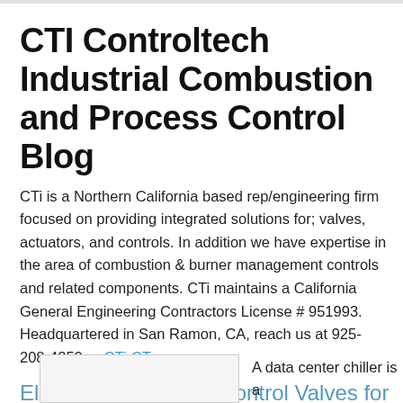CTI Controltech Industrial Combustion and Process Control Blog
CTi is a Northern California based rep/engineering firm focused on providing integrated solutions for; valves, actuators, and controls. In addition we have expertise in the area of combustion & burner management controls and related components. CTi maintains a California General Engineering Contractors License # 951993. Headquartered in San Ramon, CA, reach us at 925-208-4250 or CTi-CT.com
Electrically Actuated Control Valves for Data Center HVAC Chillers
A data center chiller is a